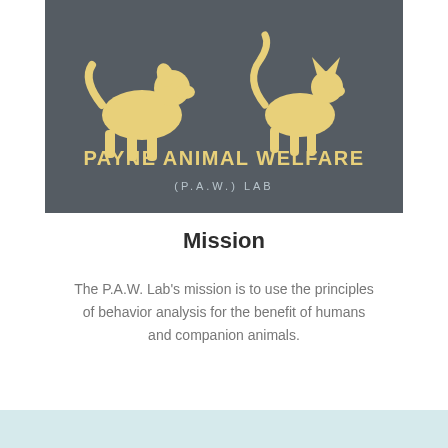[Figure (logo): Payne Animal Welfare (P.A.W.) Lab logo on dark gray background with golden dog and cat silhouettes]
Mission
The P.A.W. Lab's mission is to use the principles of behavior analysis for the benefit of humans and companion animals.